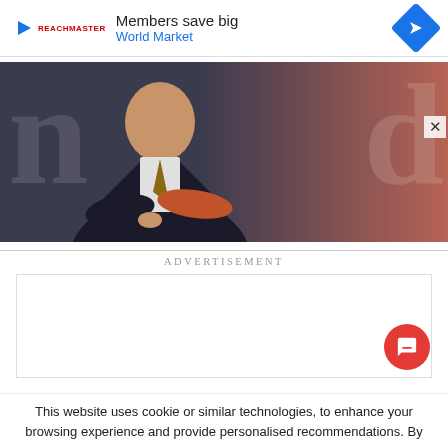[Figure (screenshot): Ad banner with play logo, 'Members save big / World Market' text and blue diamond arrow icon]
[Figure (photo): Background image of a man in a dark suit with arms crossed against a salmon/dark background with large letter watermarks 'n' and 'd']
ADVERTISEMENT
[Figure (other): Empty white advertisement placeholder box]
This website uses cookie or similar technologies, to enhance your browsing experience and provide personalised recommendations. By